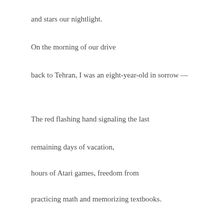and stars our nightlight.
On the morning of our drive
back to Tehran, I was an eight-year-old in sorrow —
The red flashing hand signaling the last
remaining days of vacation,
hours of Atari games, freedom from
practicing math and memorizing textbooks.